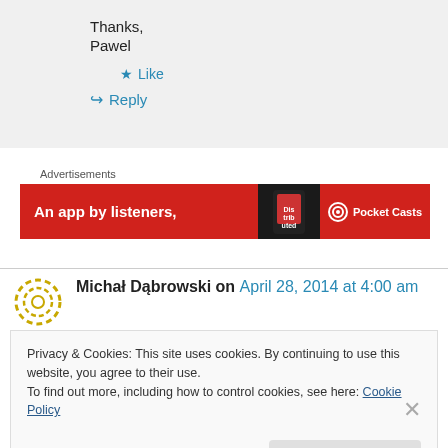Thanks,
Pawel
★ Like
↳ Reply
Advertisements
[Figure (illustration): Red advertisement banner reading 'An app by listeners,' with phone graphic and Pocket Casts logo]
Michał Dąbrowski on April 28, 2014 at 4:00 am
Privacy & Cookies: This site uses cookies. By continuing to use this website, you agree to their use.
To find out more, including how to control cookies, see here: Cookie Policy